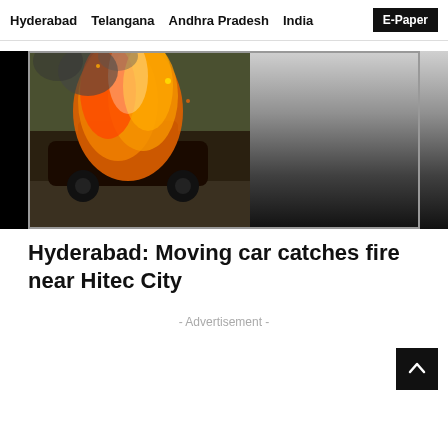Hyderabad  Telangana  Andhra Pradesh  India  E-Paper
[Figure (photo): A car engulfed in flames on a road near Hitec City, Hyderabad. The left portion shows the burning vehicle with large orange and red flames, the right portion fades to dark gradient.]
Hyderabad: Moving car catches fire near Hitec City
- Advertisement -